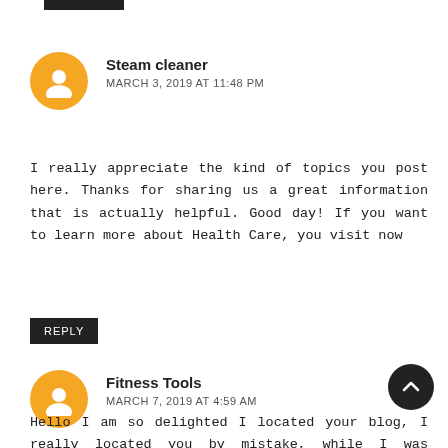Steam cleaner
MARCH 3, 2019 AT 11:48 PM
I really appreciate the kind of topics you post here. Thanks for sharing us a great information that is actually helpful. Good day! If you want to learn more about Health Care, you visit now
REPLY
Fitness Tools
MARCH 7, 2019 AT 4:59 AM
Hello I am so delighted I located your blog, I really located you by mistake, while I was watching on